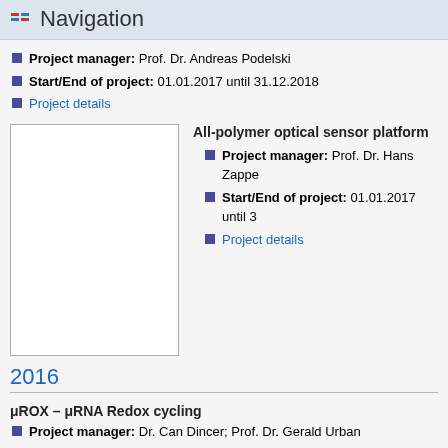Navigation
Project manager: Prof. Dr. Andreas Podelski
Start/End of project: 01.01.2017 until 31.12.2018
Project details
[Figure (photo): Blank/placeholder image for project]
All-polymer optical sensor platform
Project manager: Prof. Dr. Hans Zappe
Start/End of project: 01.01.2017 until ...
Project details
2016
μROX – μRNA Redox cycling
Project manager: Dr. Can Dincer; Prof. Dr. Gerald Urban
Start/End of project: 01.12.2016 until 31.05.2020
Project details
BMBF Verbundprojekt Deutsches Netzwerk für Bioinformatik-Infras...